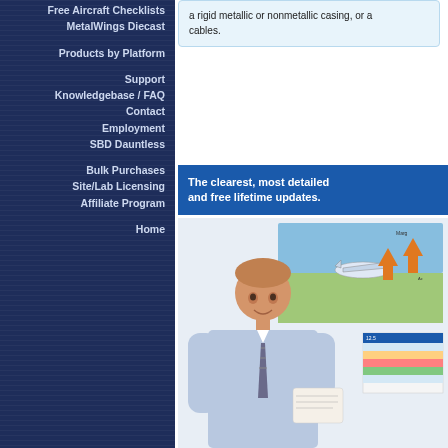Free Aircraft Checklists
MetalWings Diecast
Products by Platform
Support
Knowledgebase / FAQ
Contact
Employment
SBD Dauntless
Bulk Purchases
Site/Lab Licensing
Affiliate Program
Home
a rigid metallic or nonmetallic casing, or a...cables.
The clearest, most detailed and free lifetime updates.
[Figure (photo): A young man in a business shirt and striped tie smiling and holding documents, with an aviation diagram showing a small plane over landscape in the background, and a data chart/table partially visible.]